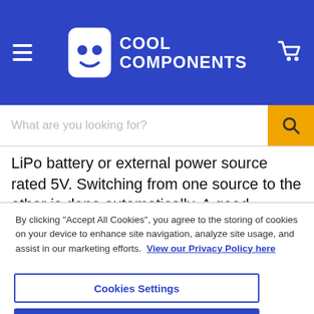[Figure (logo): Cool Components logo with hamburger menu icon on left and shopping cart on right, white on blue background]
What are you looking for?
LiPo battery or external power source rated 5V. Switching from one source to the other is done automatically. A good
By clicking "Accept All Cookies", you agree to the storing of cookies on your device to enhance site navigation, analyze site usage, and assist in our marketing efforts.  View our Privacy Policy here
Cookies Settings
Reject All
Accept All Cookies